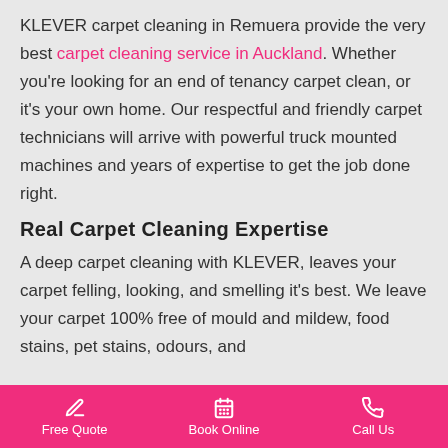KLEVER carpet cleaning in Remuera provide the very best carpet cleaning service in Auckland. Whether you're looking for an end of tenancy carpet clean, or it's your own home. Our respectful and friendly carpet technicians will arrive with powerful truck mounted machines and years of expertise to get the job done right.
Real Carpet Cleaning Expertise
A deep carpet cleaning with KLEVER, leaves your carpet felling, looking, and smelling it's best. We leave your carpet 100% free of mould and mildew, food stains, pet stains, odours, and
Free Quote  Book Online  Call Us